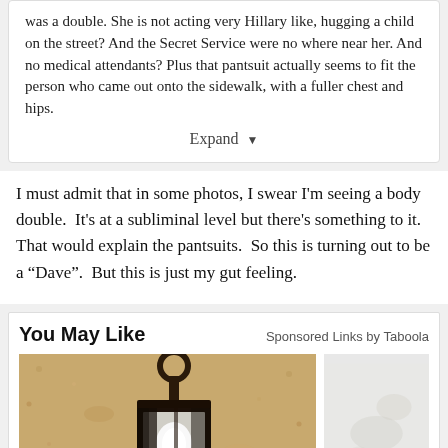was a double. She is not acting very Hillary like, hugging a child on the street? And the Secret Service were no where near her. And no medical attendants? Plus that pantsuit actually seems to fit the person who came out onto the sidewalk, with a fuller chest and hips.
Expand
I must admit that in some photos, I swear I'm seeing a body double.  It's at a subliminal level but there's something to it.  That would explain the pantsuits.  So this is turning out to be a "Dave".  But this is just my gut feeling.
You May Like
Sponsored Links by Taboola
[Figure (photo): Outdoor lantern wall light mounted on stucco wall, with a white light bulb visible inside the dark metal lantern frame.]
[Figure (photo): Partially visible second sponsored image, light gray/white background, faint textures visible.]